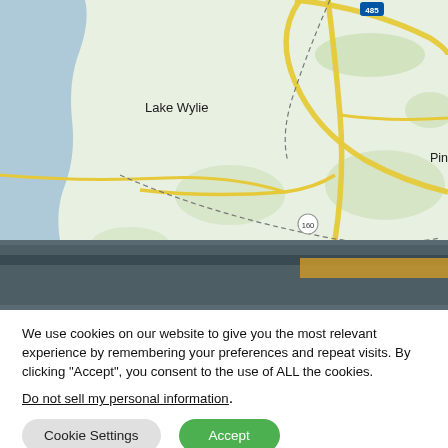[Figure (map): Road map showing Charlotte NC metro area including Lake Wylie, Pineville, Matthews, Indian Trail, Tega Cay, Fort Mill, Indian Land, Wesley Chapel, Newport, Rock Hill, Waxhaw, Mineral Springs, with highway markers 485, 77, 160, 521, 49, 5, 161, 84, 75. Bottom portion shows a photograph of a road scene with an orange/tan horizontal banner overlay.]
We use cookies on our website to give you the most relevant experience by remembering your preferences and repeat visits. By clicking “Accept”, you consent to the use of ALL the cookies.
Do not sell my personal information.
Cookie Settings
Accept